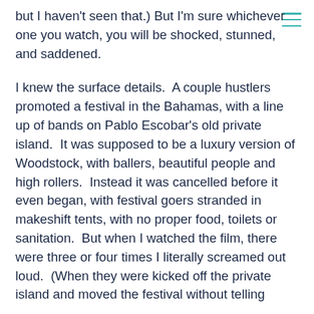but I haven't seen that.) But I'm sure whichever one you watch, you will be shocked, stunned, and saddened.
I knew the surface details.  A couple hustlers promoted a festival in the Bahamas, with a line up of bands on Pablo Escobar's old private island.  It was supposed to be a luxury version of Woodstock, with ballers, beautiful people and high rollers.  Instead it was cancelled before it even began, with festival goers stranded in makeshift tents, with no proper food, toilets or sanitation.  But when I watched the film, there were three or four times I literally screamed out loud.  (When they were kicked off the private island and moved the festival without telling